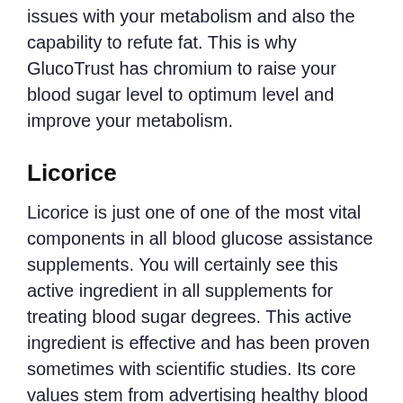issues with your metabolism and also the capability to refute fat. This is why GlucoTrust has chromium to raise your blood sugar level to optimum level and improve your metabolism.
Licorice
Licorice is just one of one of the most vital components in all blood glucose assistance supplements. You will certainly see this active ingredient in all supplements for treating blood sugar degrees. This active ingredient is effective and has been proven sometimes with scientific studies. Its core values stem from advertising healthy blood glucose in diabetic patients.